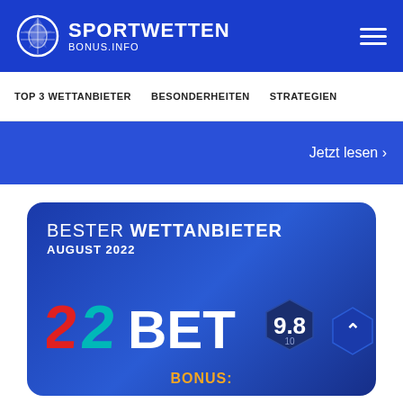[Figure (logo): Sportwetten Bonus.info logo with soccer ball icon on blue header bar]
TOP 3 WETTANBIETER   BESONDERHEITEN   STRATEGIEN
Jetzt lesen >
BESTER WETTANBIETER AUGUST 2022
[Figure (logo): 22BET logo in red and teal colors with score badge showing 9.8/10 and BONUS label in gold]
BONUS: